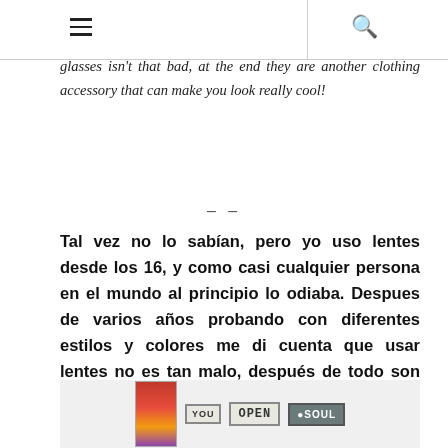≡  🔍
glasses isn't that bad, at the end they are another clothing accessory that can make you look really cool!
– –
Tal vez no lo sabían, pero yo uso lentes desde los 16, y como casi cualquier persona en el mundo al principio lo odiaba. Despues de varios años probando con diferentes estilos y colores me di cuenta que usar lentes no es tan malo, después de todo son solo otro accesorio que puede ser el complemento ideal para cualquier outfit.
[Figure (photo): Decorative signs on a wall including a colorful poster, a 'OPEN' sign, and a 'SOUL' sign]